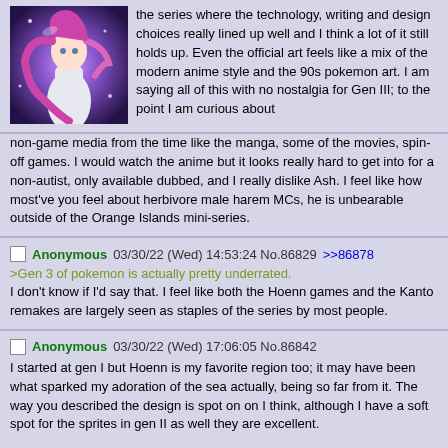[Figure (illustration): Anime-style illustration of a Pokemon character with pink/purple hair and white outfit against a purple/blue background]
the series where the technology, writing and design choices really lined up well and I think a lot of it still holds up. Even the official art feels like a mix of the modern anime style and the 90s pokemon art. I am saying all of this with no nostalgia for Gen III; to the point I am curious about non-game media from the time like the manga, some of the movies, spin-off games. I would watch the anime but it looks really hard to get into for a non-autist, only available dubbed, and I really dislike Ash. I feel like how most've you feel about herbivore male harem MCs, he is unbearable outside of the Orange Islands mini-series.
Anonymous 03/30/22 (Wed) 14:53:24 No.86829 >>86878
>Gen 3 of pokemon is actually pretty underrated.
I don't know if I'd say that. I feel like both the Hoenn games and the Kanto remakes are largely seen as staples of the series by most people.
Anonymous 03/30/22 (Wed) 17:06:05 No.86842
I started at gen I but Hoenn is my favorite region too; it may have been what sparked my adoration of the sea actually, being so far from it. The way you described the design is spot on on I think, although I have a soft spot for the sprites in gen II as well they are excellent.

I actually never read too far into the Pokemon manga but I can tell you that the early ones are good; /a/ had a read along...